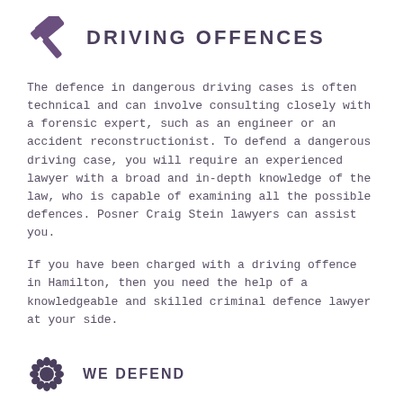DRIVING OFFENCES
The defence in dangerous driving cases is often technical and can involve consulting closely with a forensic expert, such as an engineer or an accident reconstructionist. To defend a dangerous driving case, you will require an experienced lawyer with a broad and in-depth knowledge of the law, who is capable of examining all the possible defences. Posner Craig Stein lawyers can assist you.
If you have been charged with a driving offence in Hamilton, then you need the help of a knowledgeable and skilled criminal defence lawyer at your side.
WE DEFEND
• Dangerous driving